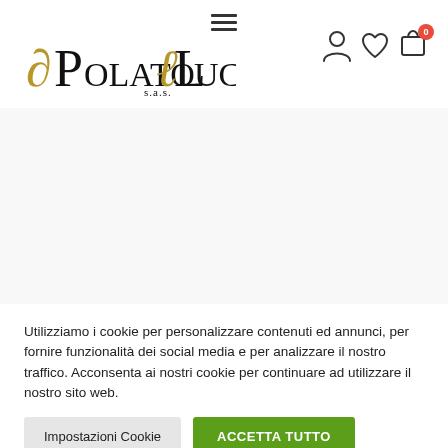[Figure (logo): Polato Luca SAS company logo with decorative serif lettering in black and gold]
Utilizziamo i cookie per personalizzare contenuti ed annunci, per fornire funzionalità dei social media e per analizzare il nostro traffico. Acconsenta ai nostri cookie per continuare ad utilizzare il nostro sito web.
Impostazioni Cookie
ACCETTA TUTTO